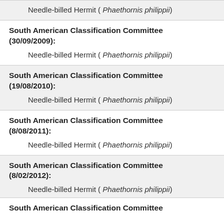Needle-billed Hermit ( Phaethornis philippii)
South American Classification Committee (30/09/2009):
Needle-billed Hermit ( Phaethornis philippii)
South American Classification Committee (19/08/2010):
Needle-billed Hermit ( Phaethornis philippii)
South American Classification Committee (8/08/2011):
Needle-billed Hermit ( Phaethornis philippii)
South American Classification Committee (8/02/2012):
Needle-billed Hermit ( Phaethornis philippii)
South American Classification Committee